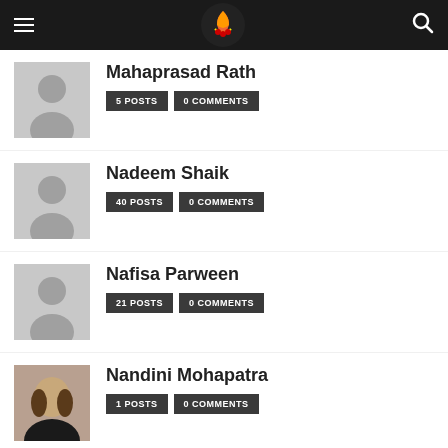Navigation header with logo
Mahaprasad Rath — 5 POSTS, 0 COMMENTS
Nadeem Shaik — 40 POSTS, 0 COMMENTS
Nafisa Parween — 21 POSTS, 0 COMMENTS
Nandini Mohapatra — 1 POSTS, 0 COMMENTS
Natasa Basu — 7 POSTS, 0 COMMENTS